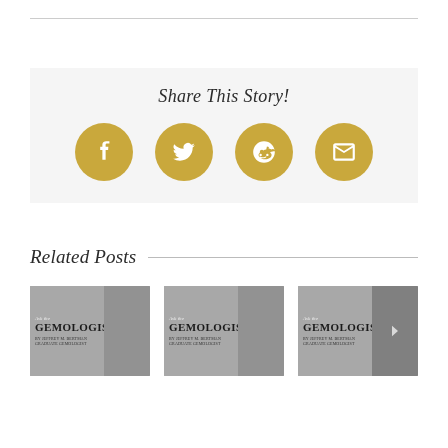Share This Story!
[Figure (infographic): Four golden circular social share buttons: Facebook (f), Twitter (bird), Reddit (alien), Email (envelope)]
Related Posts
[Figure (photo): Three thumbnail images of 'Ask the Gemologist by Jeffrey M. Bertman, Graduate Gemologist' banner with a man in a suit, and a navigation arrow on the right]
[Figure (photo): Ask the Gemologist thumbnail 2]
[Figure (photo): Ask the Gemologist thumbnail 3 with right navigation arrow]